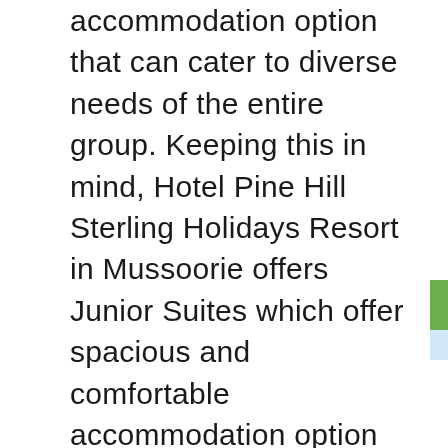accommodation option that can cater to diverse needs of the entire group. Keeping this in mind, Hotel Pine Hill Sterling Holidays Resort in Mussoorie offers Junior Suites which offer spacious and comfortable accommodation option for guests like you. The Junior Suites consist of a separate bedroom with plush bedding, living space with seating unit and attached lavish bathroom. All the sections of the Junior Suites are designed to reflect the scenic natural charm of Mussoorie and therefore guests will find natural features and local elements in the décor style of the suites. Interiors are embellished with premium furnishing and artistic decorations that impart opulent feel and look to the Room. To keep guests pampered, the Junior Suite is equipped with modern facilities and features like color television, private attached bathroom with premium fittings, round the clock